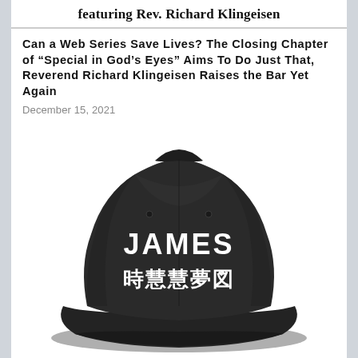featuring Rev. Richard Klingeisen
Can a Web Series Save Lives? The Closing Chapter of “Special in God’s Eyes” Aims To Do Just That, Reverend Richard Klingeisen Raises the Bar Yet Again
December 15, 2021
[Figure (photo): A black baseball cap with the text JAMES in bold white letters above Japanese/Chinese characters on the front panel.]